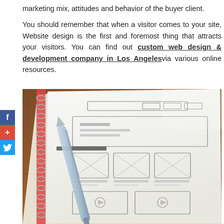marketing mix, attitudes and behavior of the buyer client.
You should remember that when a visitor comes to your site, Website design is the first and foremost thing that attracts your visitors. You can find out custom web design & development company in Los Angelesvia various online resources.
[Figure (photo): A spiral-bound notebook open to a page with hand-drawn wireframe sketches of a website layout, with a pen/stylus resting on it. The notebook is on a wooden surface.]